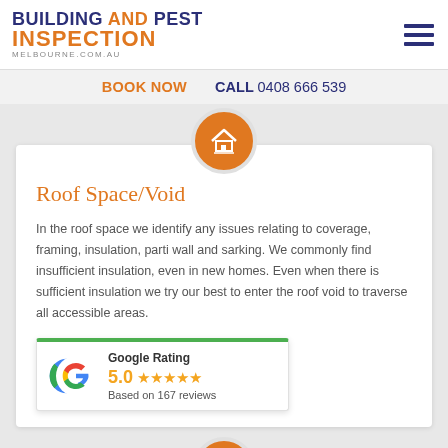[Figure (logo): Building and Pest Inspection Melbourne logo — two-line wordmark with BUILDING AND PEST in navy/orange and INSPECTION in orange, plus MELBOURNE.COM.AU tagline]
BOOK NOW
CALL 0408 666 539
[Figure (illustration): Orange circular icon with a house/roof graphic and bar-chart style lines]
Roof Space/Void
In the roof space we identify any issues relating to coverage, framing, insulation, parti wall and sarking. We commonly find insufficient insulation, even in new homes. Even when there is sufficient insulation we try our best to enter the roof void to traverse all accessible areas.
[Figure (other): Google Rating widget showing 5.0 stars based on 167 reviews with green top border]
[Figure (illustration): Orange circular icon at bottom of page (partially visible)]